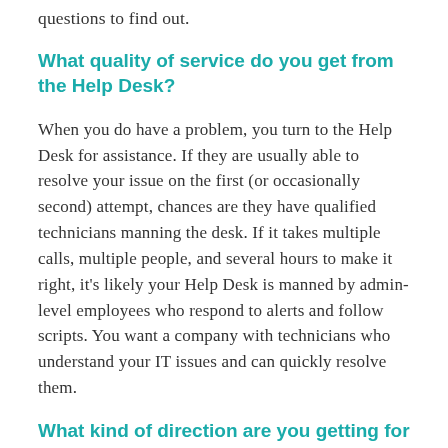questions to find out.
What quality of service do you get from the Help Desk?
When you do have a problem, you turn to the Help Desk for assistance. If they are usually able to resolve your issue on the first (or occasionally second) attempt, chances are they have qualified technicians manning the desk. If it takes multiple calls, multiple people, and several hours to make it right, it's likely your Help Desk is manned by admin-level employees who respond to alerts and follow scripts. You want a company with technicians who understand your IT issues and can quickly resolve them.
What kind of direction are you getting for your future IT needs?